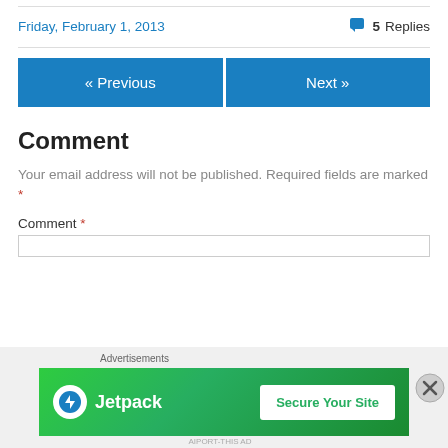Friday, February 1, 2013
5 Replies
« Previous
Next »
Comment
Your email address will not be published. Required fields are marked *
Comment *
[Figure (screenshot): Jetpack advertisement banner with 'Secure Your Site' button]
Advertisements